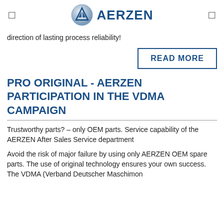AERZEN
direction of lasting process reliability!
READ MORE
PRO ORIGINAL - AERZEN PARTICIPATION IN THE VDMA CAMPAIGN
Trustworthy parts? – only OEM parts. Service capability of the AERZEN After Sales Service department
Avoid the risk of major failure by using only AERZEN OEM spare parts. The use of original technology ensures your own success. The VDMA (Verband Deutscher Maschimon